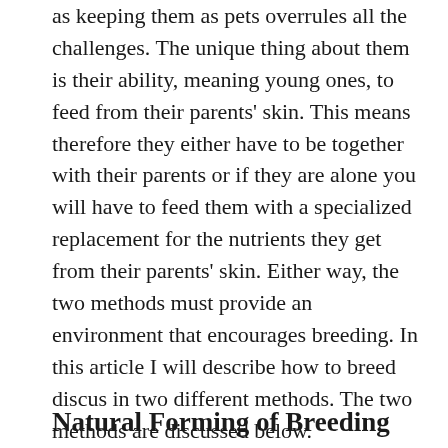as keeping them as pets overrules all the challenges. The unique thing about them is their ability, meaning young ones, to feed from their parents' skin. This means therefore they either have to be together with their parents or if they are alone you will have to feed them with a specialized replacement for the nutrients they get from their parents' skin. Either way, the two methods must provide an environment that encourages breeding. In this article I will describe how to breed discus in two different methods. The two methods are discussed below.
Natural Forming of Breeding